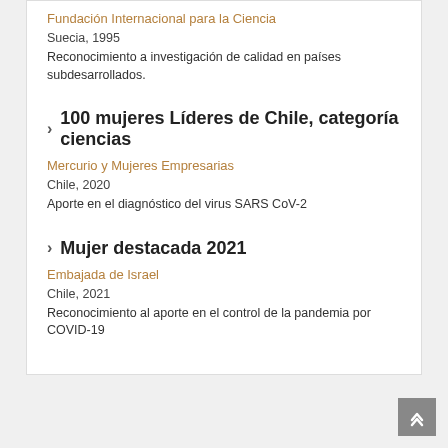Fundación Internacional para la Ciencia
Suecia, 1995
Reconocimiento a investigación de calidad en países subdesarrollados.
100 mujeres Líderes de Chile, categoría ciencias
Mercurio y Mujeres Empresarias
Chile, 2020
Aporte en el diagnóstico del virus SARS CoV-2
Mujer destacada 2021
Embajada de Israel
Chile, 2021
Reconocimiento al aporte en el control de la pandemia por COVID-19